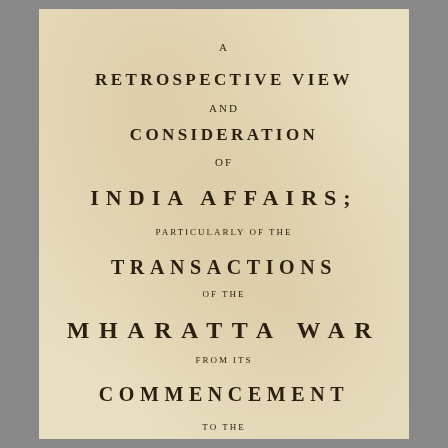A
RETROSPECTIVE VIEW
AND
CONSIDERATION
OF
INDIA AFFAIRS;
PARTICULARLY OF THE
TRANSACTIONS
OF THE
MHARATTA WAR
FROM ITS
COMMENCEMENT
TO THE